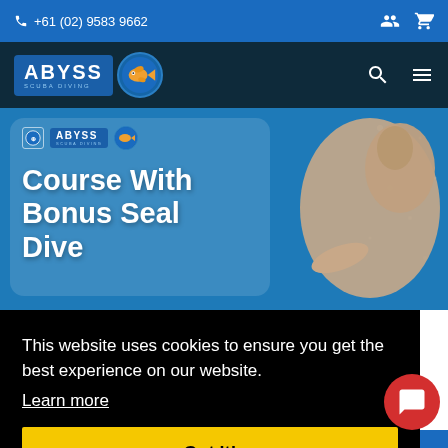+61 (02) 9583 9662
[Figure (logo): Abyss Scuba Diving logo with fish icon on dark navy navigation bar]
[Figure (photo): Hero banner showing underwater scene with a seal and text 'Course With Bonus Seal Dive' with Abyss Scuba Diving branding]
This website uses cookies to ensure you get the best experience on our website.
Learn more
Got it!